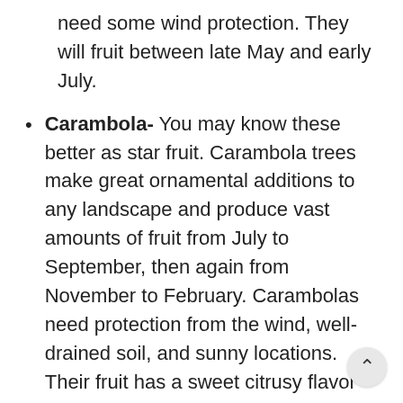need some wind protection. They will fruit between late May and early July.
Carambola- You may know these better as star fruit. Carambola trees make great ornamental additions to any landscape and produce vast amounts of fruit from July to September, then again from November to February. Carambolas need protection from the wind, well-drained soil, and sunny locations. Their fruit has a sweet citrusy flavor and is delicious in salads and beautiful as drink garnishes.
Papaya- If you are working with a smaller area, but your client still wants a fruit tree, papayas are the perfect solution. They fit small spaces well because they grow very upright. Papayas will produce fruit all year long and can be grown from seed. Their fruit is delicious and well-loved in Florida